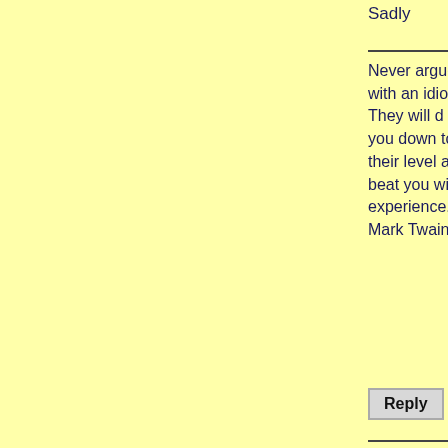Sadly
Never argue with an idiot. They will drag you down to their level and beat you with experience. Mark Twain
Reply
Re: 2 in 9 out.
Posted by countyblueforever on 21/5/2022, 10:16 am, in reply to "Re: 2 in 9 out."
Quinny, nevertheless we will all know when we hear officially from the club, until then it is only circumspect stories.